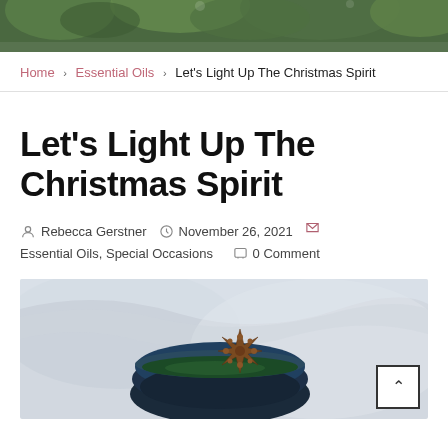[Figure (photo): Top banner photo showing green foliage/plants against a dark background]
Home > Essential Oils > Let's Light Up The Christmas Spirit
Let's Light Up The Christmas Spirit
Rebecca Gerstner   November 26, 2021   Essential Oils, Special Occasions   0 Comment
[Figure (photo): Photo of a dark bowl with a star anise on top, light fabric background]